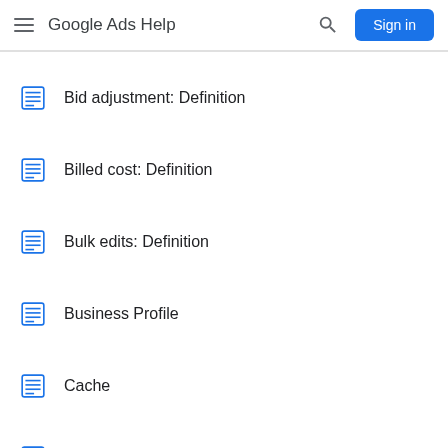Google Ads Help
Bid adjustment: Definition
Billed cost: Definition
Bulk edits: Definition
Business Profile
Cache
Campaign draft: definition
Campaign experiment: definition
Campaign group: Definition
Campaign status: Definition